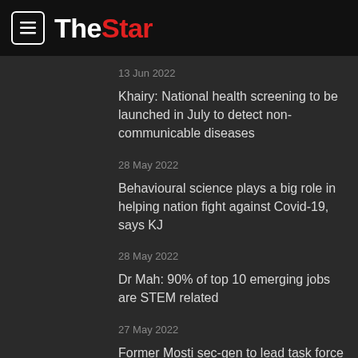The Star
13 Jun 2022
Khairy: National health screening to be launched in July to detect non-communicable diseases
28 May 2022
Behavioural science plays a big role in helping nation fight against Covid-19, says KJ
28 May 2022
Dr Mah: 90% of top 10 emerging jobs are STEM related
27 May 2022
Former Mosti sec-gen to lead task force probing death of houseman,